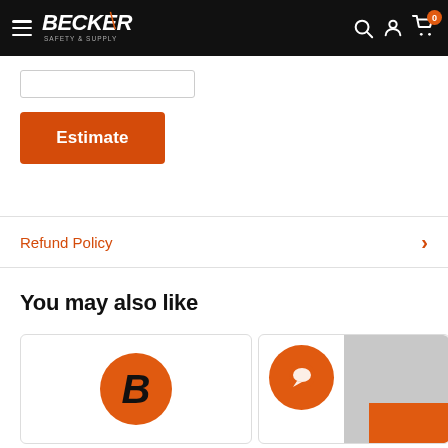Becker Safety & Supply — navigation header
[Figure (screenshot): Orange Estimate button on product page]
Refund Policy
You may also like
[Figure (illustration): Becker Safety & Supply product card with orange B logo]
[Figure (illustration): Second product card with orange circle icon and gray product image]